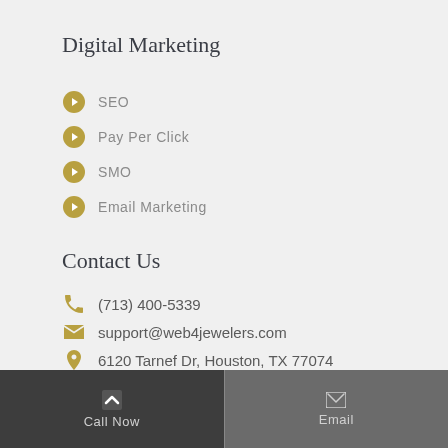Digital Marketing
SEO
Pay Per Click
SMO
Email Marketing
Contact Us
(713) 400-5339
support@web4jewelers.com
6120 Tarnef Dr, Houston, TX 77074
[Figure (other): Payment method icons: cash, PayPal, Visa, MasterCard, Discover, American Express]
Call Now   Email